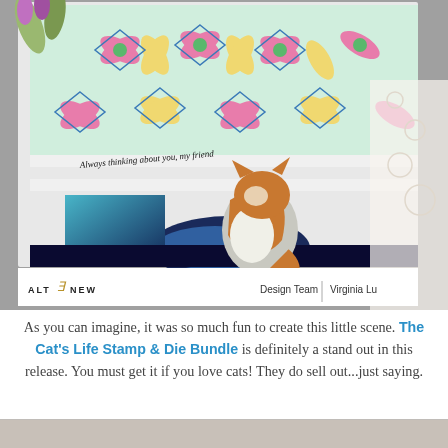[Figure (photo): A greeting card made with Altenew products, featuring a geometric kaleidoscope pattern in pink, yellow, green and blue at the top, a white cat sitting on a dark blue crescent moon, and text reading 'Always thinking about you, my friend'. Card shown on a grey background with lace. Altenew logo, Design Team, and Virginia Lu credits at bottom of image.]
As you can imagine, it was so much fun to create this little scene. The Cat's Life Stamp & Die Bundle is definitely a stand out in this release. You must get it if you love cats! They do sell out...just saying.